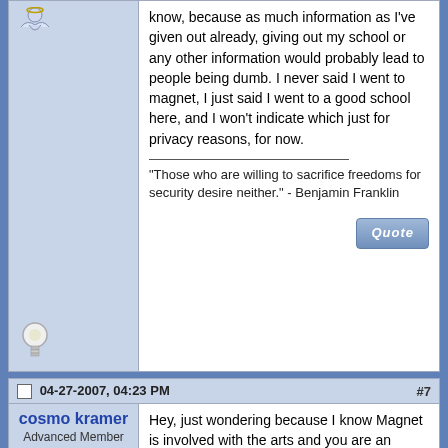know, because as much information as I've given out already, giving out my school or any other information would probably lead to people being dumb. I never said I went to magnet, I just said I went to a good school here, and I won't indicate which just for privacy reasons, for now.
"Those who are willing to sacrifice freedoms for security desire neither." - Benjamin Franklin
04-27-2007, 04:23 PM
#7
cosmo kramer
Advanced Member
Hey, just wondering because I know Magnet is involved with the arts and you are an accomplished writer. Not trying to pry too much in your private information, I just know there are a lot